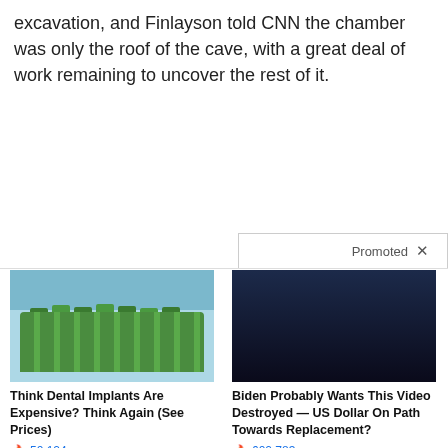excavation, and Finlayson told CNN the chamber was only the roof of the cave, with a great deal of work remaining to uncover the rest of it.
[Figure (other): Promoted content bar with X close button]
[Figure (photo): Advertisement image: dental implant model with green caps on white base]
Think Dental Implants Are Expensive? Think Again (See Prices)
🔥 50,124
[Figure (photo): Advertisement image: dark photo of group of men in suits standing in a row, with a red circle highlighting one person and a play button overlay]
Biden Probably Wants This Video Destroyed — US Dollar On Path Towards Replacement?
🔥 600,783